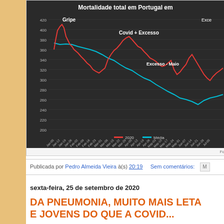[Figure (line-chart): Line chart showing total mortality in Portugal in 2020 vs average. Red line shows 2020 data with Gripe (flu) peak early, Covid+Excesso peak mid-year, and Excesso-Maio annotation. Blue line shows Média (average) declining trend.]
Publicada por Pedro Almeida Vieira à(s) 20:19   Sem comentários:
sexta-feira, 25 de setembro de 2020
DA PNEUMONIA, MUITO MAIS LETA... E JOVENS DO QUE A COVID...